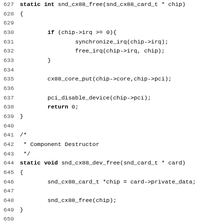[Figure (screenshot): Source code listing in C showing lines 627-659 of a kernel/ALSA audio driver file. Contains functions snd_cx88_free and snd_cx88_dev_free, plus the beginning of snd_cx88_create. Code is displayed in monospace font with line numbers on the left.]